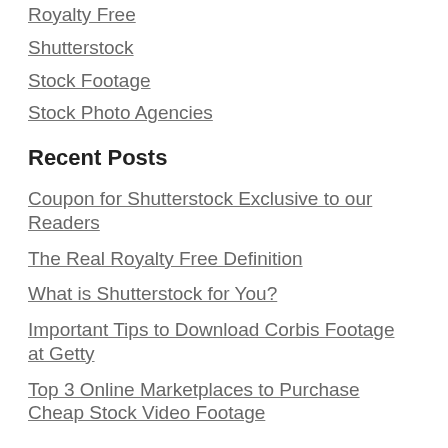Royalty Free
Shutterstock
Stock Footage
Stock Photo Agencies
Recent Posts
Coupon for Shutterstock Exclusive to our Readers
The Real Royalty Free Definition
What is Shutterstock for You?
Important Tips to Download Corbis Footage at Getty
Top 3 Online Marketplaces to Purchase Cheap Stock Video Footage